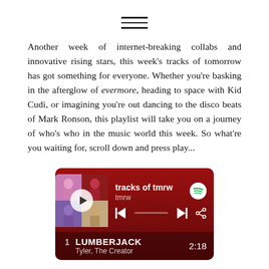[Figure (other): Hamburger menu icon — three horizontal lines]
Another week of internet-breaking collabs and innovative rising stars, this week's tracks of tomorrow has got something for everyone. Whether you're basking in the afterglow of evermore, heading to space with Kid Cudi, or imagining you're out dancing to the disco beats of Mark Ronson, this playlist will take you on a journey of who's who in the music world this week. So what're you waiting for, scroll down and press play...
[Figure (screenshot): Spotify embed widget showing 'tracks of tmrw' playlist by tmrw. Dark red background with album art collage, play button, playback controls, progress bar, Spotify logo. Track 1 listed: LUMBERJACK by Tyler, The Creator, duration 2:18]